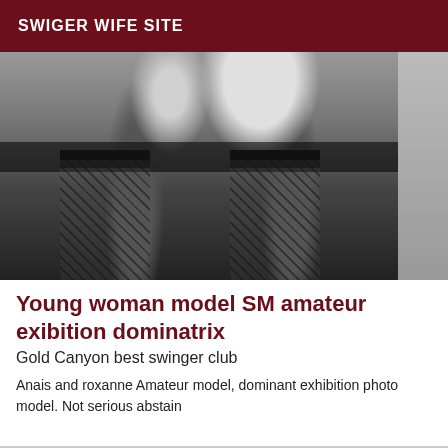SWIGER WIFE SITE
[Figure (photo): Black and white photo of a woman in fishnet stockings and dark stocking tops, viewed from behind, lower body only.]
Young woman model SM amateur exibition dominatrix
Gold Canyon best swinger club
Anais and roxanne Amateur model, dominant exhibition photo model. Not serious abstain